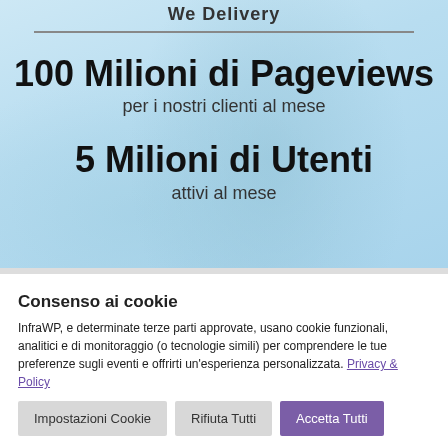We Delivery
100 Milioni di Pageviews
per i nostri clienti al mese
5 Milioni di Utenti
attivi al mese
Consenso ai cookie
InfraWP, e determinate terze parti approvate, usano cookie funzionali, analitici e di monitoraggio (o tecnologie simili) per comprendere le tue preferenze sugli eventi e offrirti un'esperienza personalizzata. Privacy & Policy
Impostazioni Cookie
Rifiuta Tutti
Accetta Tutti